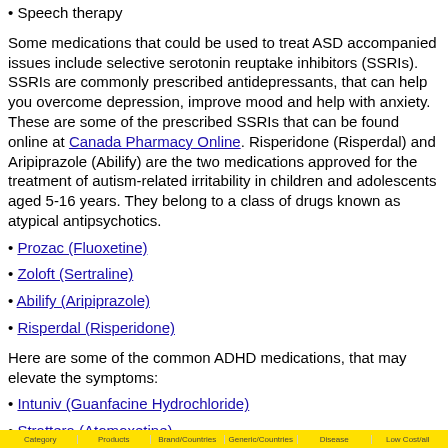• Speech therapy
Some medications that could be used to treat ASD accompanied issues include selective serotonin reuptake inhibitors (SSRIs). SSRIs are commonly prescribed antidepressants, that can help you overcome depression, improve mood and help with anxiety. These are some of the prescribed SSRIs that can be found online at Canada Pharmacy Online. Risperidone (Risperdal) and Aripiprazole (Abilify) are the two medications approved for the treatment of autism-related irritability in children and adolescents aged 5-16 years. They belong to a class of drugs known as atypical antipsychotics.
• Prozac (Fluoxetine)
• Zoloft (Sertraline)
• Abilify (Aripiprazole)
• Risperdal (Risperidone)
Here are some of the common ADHD medications, that may elevate the symptoms:
• Intuniv (Guanfacine Hydrochloride)
• Strattera (Atomoxetine)
Category | Products | Brand/Countries | Generic/Countries | Disease | Low Cost/all